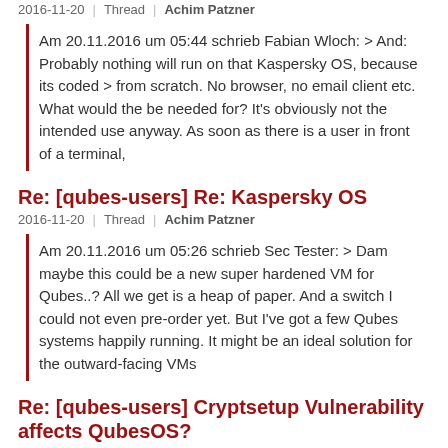2016-11-20 | Thread | Achim Patzner
Am 20.11.2016 um 05:44 schrieb Fabian Wloch: > And: Probably nothing will run on that Kaspersky OS, because its coded > from scratch. No browser, no email client etc. What would the be needed for? It's obviously not the intended use anyway. As soon as there is a user in front of a terminal,
Re: [qubes-users] Re: Kaspersky OS
2016-11-20 | Thread | Achim Patzner
Am 20.11.2016 um 05:26 schrieb Sec Tester: > Dam maybe this could be a new super hardened VM for Qubes..? All we get is a heap of paper. And a switch I could not even pre-order yet. But I've got a few Qubes systems happily running. It might be an ideal solution for the outward-facing VMs
Re: [qubes-users] Cryptsetup Vulnerability affects QubesOS?
2016-11-19 | Thread | Achim Patzner
Am 19.11.2016 um 12:54 schrieb Andrew David Wong: > By default, Qubes does not encrypt /boot. Traditionally, that's > because doing so would render the > system unbootable. However, that's no longer true with newer versions > of